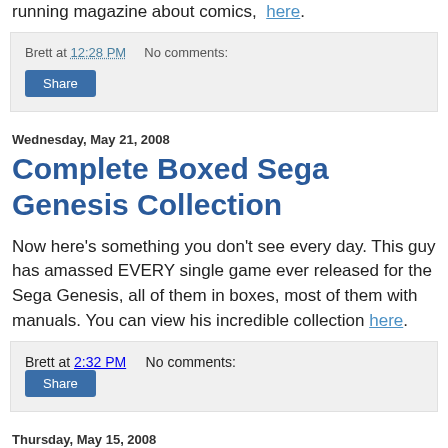running magazine about comics, here.
Brett at 12:28 PM   No comments:
Share
Wednesday, May 21, 2008
Complete Boxed Sega Genesis Collection
Now here's something you don't see every day. This guy has amassed EVERY single game ever released for the Sega Genesis, all of them in boxes, most of them with manuals. You can view his incredible collection here.
Brett at 2:32 PM   No comments:
Share
Thursday, May 15, 2008